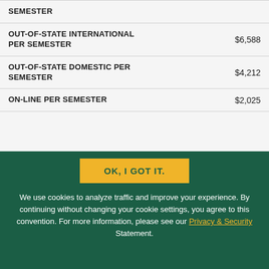|  |  |
| --- | --- |
| SEMESTER |  |
| OUT-OF-STATE INTERNATIONAL PER SEMESTER | $6,588 |
| OUT-OF-STATE DOMESTIC PER SEMESTER | $4,212 |
| ON-LINE PER SEMESTER | $2,025 |
OK, I GOT IT.
We use cookies to analyze traffic and improve your experience. By continuing without changing your cookie settings, you agree to this convention. For more information, please see our Privacy & Security Statement.